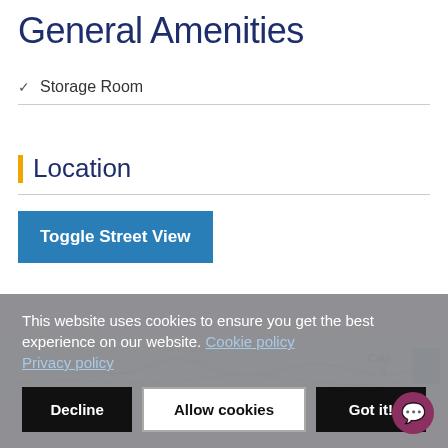General Amenities
Storage Room
Location
[Figure (screenshot): Toggle Street View button above a map preview showing 'Calp' label and a teal map tile]
This website uses cookies to ensure you get the best experience on our website. Cookie policy Privacy policy
Decline   Allow cookies   Got it!